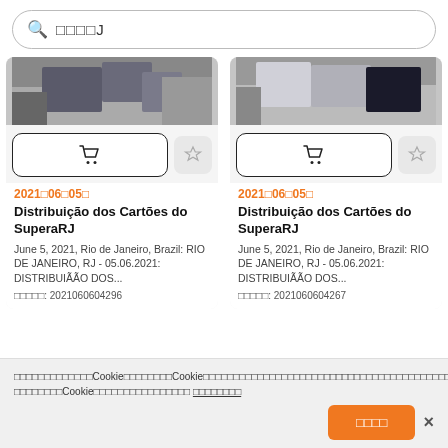□□□□J (search bar)
[Figure (photo): Cropped photo showing people's hands and clothing, left card image]
[Figure (photo): Cropped photo showing people's hands and clothing, right card image]
2021□06□05□
Distribuição dos Cartões do SuperaRJ
June 5, 2021, Rio de Janeiro, Brazil: RIO DE JANEIRO, RJ - 05.06.2021: DISTRIBUIÃÃO DOS...
□□□□□: 2021060604296
2021□06□05□
Distribuição dos Cartões do SuperaRJ
June 5, 2021, Rio de Janeiro, Brazil: RIO DE JANEIRO, RJ - 05.06.2021: DISTRIBUIÃÃO DOS...
□□□□□: 2021060604267
□□□□□□□□□□□□□□□Cookie□□□□□□□□Cookie□□□□□□□□□□□□□□□□□□□□□□□□□□□□□□□□□□□□□□□□□□□□□□Cookie□□□□□□□□□□□□□□□□□□ □□□□□□□□